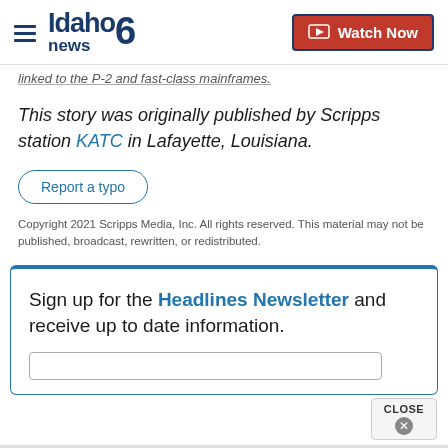Idaho news6 — Watch Now
...linked to the P-2 and fast-class mainframes.
This story was originally published by Scripps station KATC in Lafayette, Louisiana.
Report a typo
Copyright 2021 Scripps Media, Inc. All rights reserved. This material may not be published, broadcast, rewritten, or redistributed.
Sign up for the Headlines Newsletter and receive up to date information.